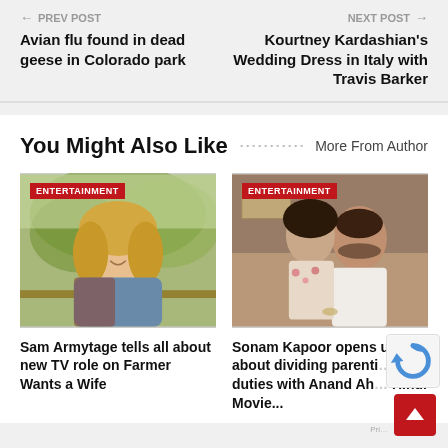← PREV POST | NEXT POST →
Avian flu found in dead geese in Colorado park
Kourtney Kardashian's Wedding Dress in Italy with Travis Barker
You Might Also Like
More From Author
[Figure (photo): Blonde woman smiling, leaning on a fence outdoors with trees in background. Badge: ENTERTAINMENT]
[Figure (photo): Couple posing together at a restaurant or indoor venue. Badge: ENTERTAINMENT]
Sam Armytage tells all about new TV role on Farmer Wants a Wife
Sonam Kapoor opens up about dividing parenting duties with Anand Ah... Hindi Movie...